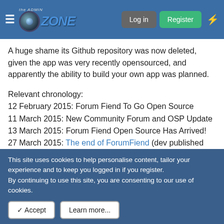the ADMIN ZONE | Log in | Register
A huge shame its Github repository was now deleted, given the app was very recently opensourced, and apparently the ability to build your own app was planned.
Relevant chronology:
12 February 2015: Forum Fiend To Go Open Source
11 March 2015: New Community Forum and OSP Update
13 March 2015: Forum Fiend Open Source Has Arrived!
27 March 2015: The end of ForumFiend (dev published the cease and desist and thoughts on his site)
28 March 2015: Forum Fiend Development Has Ended
Screenshots attached for preservation
This site uses cookies to help personalise content, tailor your experience and to keep you logged in if you register.
By continuing to use this site, you are consenting to our use of cookies.